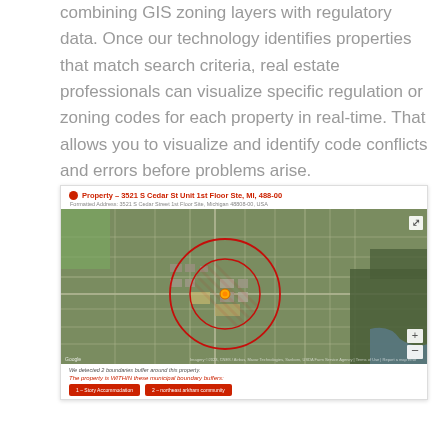combining GIS zoning layers with regulatory data. Once our technology identifies properties that match search criteria, real estate professionals can visualize specific regulation or zoning codes for each property in real-time. That allows you to visualize and identify code conflicts and errors before problems arise.
[Figure (screenshot): Property detail screenshot showing a satellite/aerial map of a property at 3521 S Cedar St Unit 1st Floor Ste, MI, 488-00 with red circular boundary buffers overlaid on the map. Below the map shows text 'We detected 2 boundaries buffer around this property.' in italic, followed by 'The property is WITHIN these municipal boundary buffers:' in red, and two red buttons labeled '1 - Story Accommodation' and '2 - northeast arkham community'.]